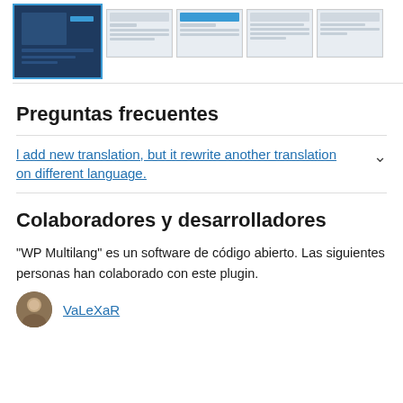[Figure (screenshot): Row of WordPress plugin screenshots: one large selected thumbnail (dark background, blue border) and four smaller thumbnails showing admin interface screens]
Preguntas frecuentes
l add new translation, but it rewrite another translation on different language.
Colaboradores y desarrolladores
“WP Multilang” es un software de código abierto. Las siguientes personas han colaborado con este plugin.
VaLeXaR